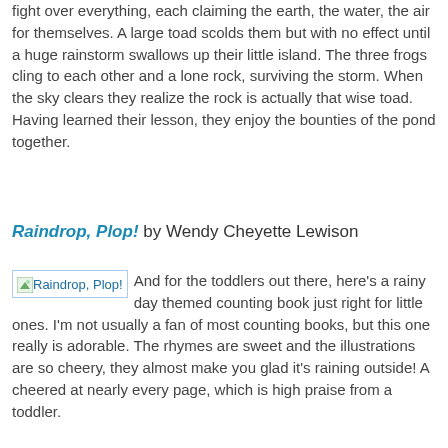fight over everything, each claiming the earth, the water, the air for themselves. A large toad scolds them but with no effect until a huge rainstorm swallows up their little island. The three frogs cling to each other and a lone rock, surviving the storm. When the sky clears they realize the rock is actually that wise toad. Having learned their lesson, they enjoy the bounties of the pond together.
Raindrop, Plop! by Wendy Cheyette Lewison
And for the toddlers out there, here's a rainy day themed counting book just right for little ones. I'm not usually a fan of most counting books, but this one really is adorable. The rhymes are sweet and the illustrations are so cheery, they almost make you glad it's raining outside! A cheered at nearly every page, which is high praise from a toddler.